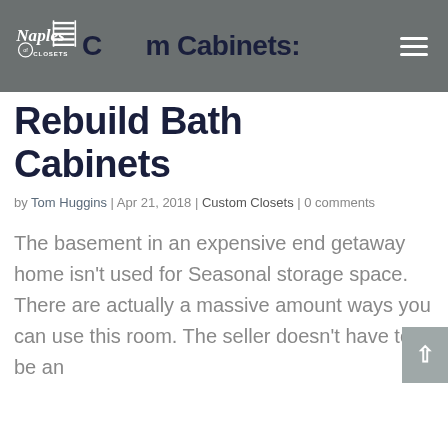Custom Cabinets: Rebuild Bath Cabinets
Custom Cabinets: Rebuild Bath Cabinets
by Tom Huggins | Apr 21, 2018 | Custom Closets | 0 comments
The basement in an expensive end getaway home isn't used for Seasonal storage space. There are actually a massive amount ways you can use this room. The seller doesn't have to be an